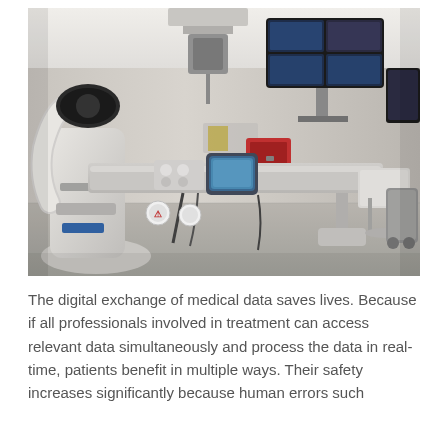[Figure (photo): A medical procedure room featuring a robotic surgical/imaging system (appears to be an interventional radiology or catheterization lab). The room contains a large white robotic arm with a patient table/bed equipped with control panels and a touchscreen display in the center. Multiple monitors are mounted on the wall in the background. Medical equipment and a red storage unit are visible in the background. The room has light-colored walls and floors.]
The digital exchange of medical data saves lives. Because if all professionals involved in treatment can access relevant data simultaneously and process the data in real-time, patients benefit in multiple ways. Their safety increases significantly because human errors such